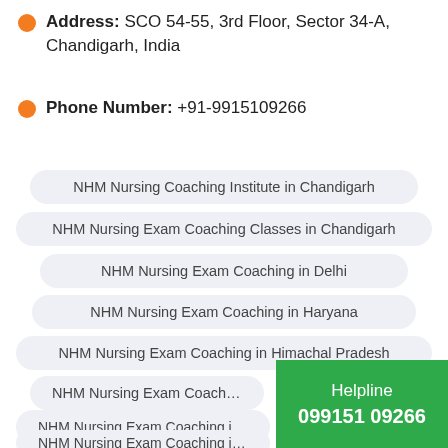Address: SCO 54-55, 3rd Floor, Sector 34-A, Chandigarh, India
Phone Number: +91-9915109266
NHM Nursing Coaching Institute in Chandigarh
NHM Nursing Exam Coaching Classes in Chandigarh
NHM Nursing Exam Coaching in Delhi
NHM Nursing Exam Coaching in Haryana
NHM Nursing Exam Coaching in Himachal Pradesh
NHM Nursing Exam Coaching in Mohali
NHM Nursing Exam Coaching in Panch...
NHM Nursing Exam Coaching in Pur...
Helpline 099151 09266